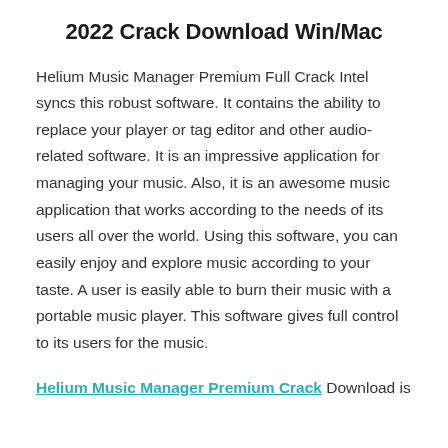2022 Crack Download Win/Mac
Helium Music Manager Premium Full Crack Intel syncs this robust software. It contains the ability to replace your player or tag editor and other audio-related software. It is an impressive application for managing your music. Also, it is an awesome music application that works according to the needs of its users all over the world. Using this software, you can easily enjoy and explore music according to your taste. A user is easily able to burn their music with a portable music player. This software gives full control to its users for the music.
Helium Music Manager Premium Crack Download is